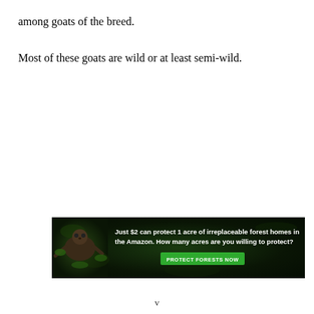among goats of the breed.
Most of these goats are wild or at least semi-wild.
[Figure (photo): Advertisement banner with dark forest background and an animal (sloth or similar). Text reads: 'Just $2 can protect 1 acre of irreplaceable forest homes in the Amazon. How many acres are you willing to protect?' with a green button 'PROTECT FORESTS NOW']
V